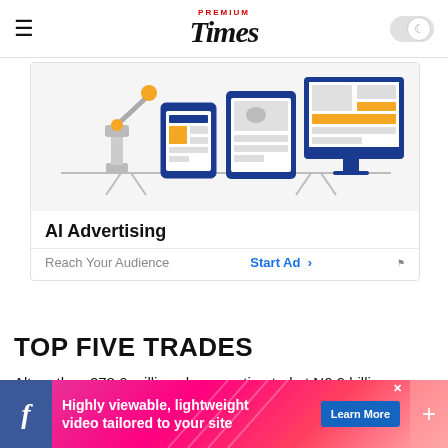Premium Times
[Figure (illustration): AI Advertising illustration showing a robotic arm, tablet, phone, and desktop monitor with ad layout placeholders in blue, grey and yellow. Text: AI Advertising. Footer: Reach Your Audience | Start Ad >]
TOP FIVE TRADES
Altogether, 278.6 million shares estimated at N2.9 billion were traded in 4,447 deals.
[Figure (illustration): Bottom banner ad: Facebook icon on left, text 'Highly viewable, lightweight video tailored to your site', Learn More button, plus icon on right]